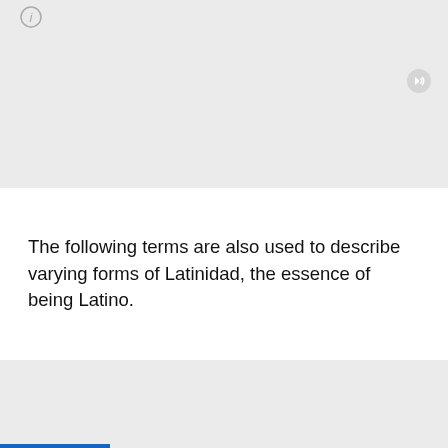[Figure (screenshot): Top gray panel with an info icon (circle i) at top left and a sound/speaker icon at the right side]
The following terms are also used to describe varying forms of Latinidad, the essence of being Latino.
[Figure (screenshot): Bottom gray panel with an info icon (circle i) at top left and a chevron-down button centered, plus a blue progress bar at the very bottom]